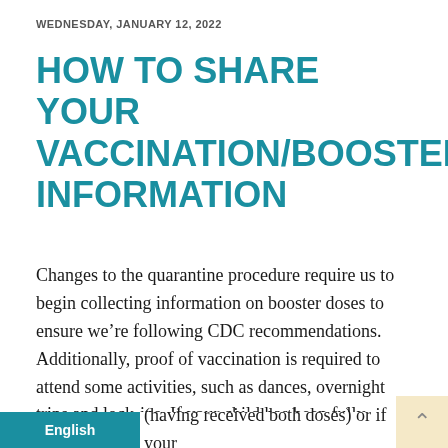WEDNESDAY, JANUARY 12, 2022
HOW TO SHARE YOUR VACCINATION/BOOSTER INFORMATION
Changes to the quarantine procedure require us to begin collecting information on booster doses to ensure we’re following CDC recommendations. Additionally, proof of vaccination is required to attend some activities, such as dances, overnight trips and lock-ins. If your child has been fully vaccinated against the coronavirus (having received both doses) or if your